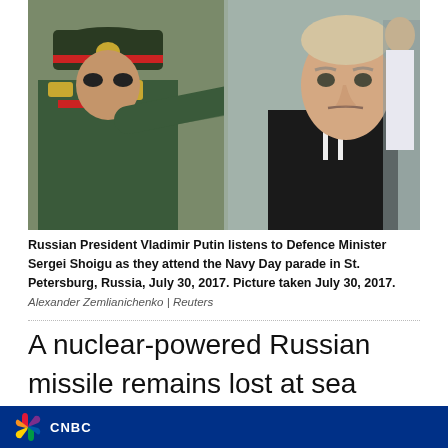[Figure (photo): Russian President Vladimir Putin and Defence Minister Sergei Shoigu attending the Navy Day parade. Shoigu is pointing with his finger while wearing a military uniform, Putin is looking stern in a suit and tie.]
Russian President Vladimir Putin listens to Defence Minister Sergei Shoigu as they attend the Navy Day parade in St. Petersburg, Russia, July 30, 2017. Picture taken July 30, 2017.
Alexander Zemlianichenko | Reuters
A nuclear-powered Russian missile remains lost at sea after a failed test late last year, and Moscow is preparing to try to recover it, according to people with direct knowledge of a
CNBC